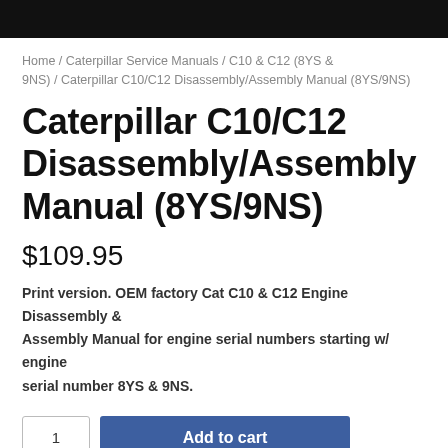[Figure (other): Black header bar at top of page]
Home / Caterpillar Service Manuals / C10 & C12 (8YS & 9NS) / Caterpillar C10/C12 Disassembly/Assembly Manual (8YS/9NS)
Caterpillar C10/C12 Disassembly/Assembly Manual (8YS/9NS)
$109.95
Print version. OEM factory Cat C10 & C12 Engine Disassembly & Assembly Manual for engine serial numbers starting w/ engine serial number 8YS & 9NS.
1  Add to cart
SKU: TMRE1318